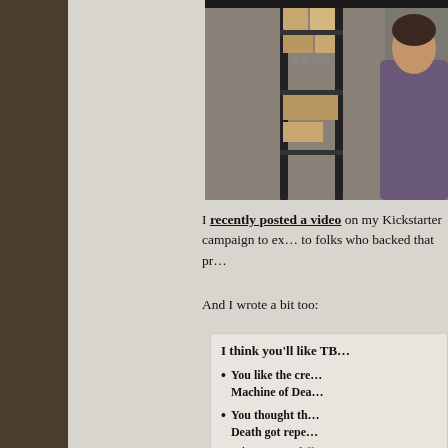[Figure (photo): Photo of a person in a storage/warehouse room with shelving units and cardboard boxes]
I recently posted a video on my Kickstarter campaign to explain things to folks who backed that pr...
And I wrote a bit too:
I think you'll like TB...
You like the cre... Machine of Dea...
You thought th... Death got repe... about many diff... know: homicide...